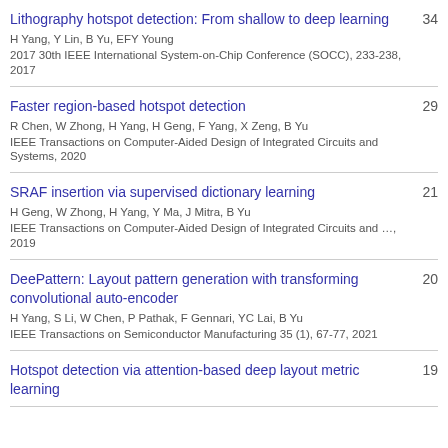Lithography hotspot detection: From shallow to deep learning
H Yang, Y Lin, B Yu, EFY Young
2017 30th IEEE International System-on-Chip Conference (SOCC), 233-238, 2017
34
Faster region-based hotspot detection
R Chen, W Zhong, H Yang, H Geng, F Yang, X Zeng, B Yu
IEEE Transactions on Computer-Aided Design of Integrated Circuits and Systems, 2020
29
SRAF insertion via supervised dictionary learning
H Geng, W Zhong, H Yang, Y Ma, J Mitra, B Yu
IEEE Transactions on Computer-Aided Design of Integrated Circuits and …, 2019
21
DeePattern: Layout pattern generation with transforming convolutional auto-encoder
H Yang, S Li, W Chen, P Pathak, F Gennari, YC Lai, B Yu
IEEE Transactions on Semiconductor Manufacturing 35 (1), 67-77, 2021
20
Hotspot detection via attention-based deep layout metric learning
19